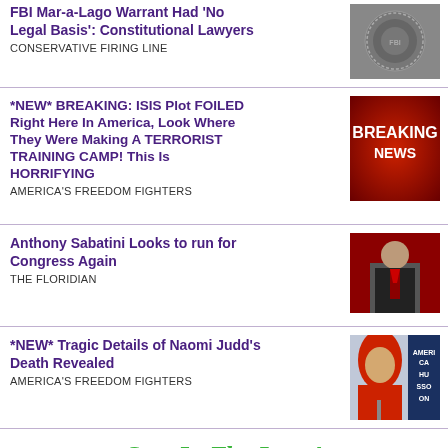FBI Mar-a-Lago Warrant Had 'No Legal Basis': Constitutional Lawyers — CONSERVATIVE FIRING LINE
*NEW* BREAKING: ISIS Plot FOILED Right Here In America, Look Where They Were Making A TERRORIST TRAINING CAMP! This Is HORRIFYING — AMERICA'S FREEDOM FIGHTERS
Anthony Sabatini Looks to run for Congress Again — THE FLORIDIAN
*NEW* Tragic Details of Naomi Judd's Death Revealed — AMERICA'S FREEDOM FIGHTERS
Stay In The Loop!